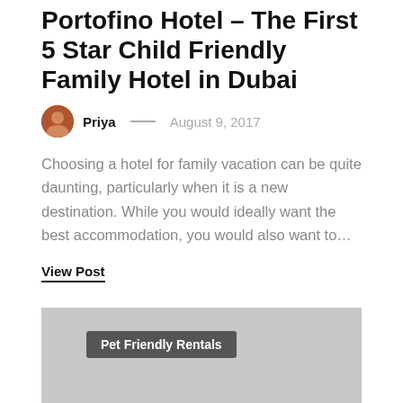Portofino Hotel – The First 5 Star Child Friendly Family Hotel in Dubai
Priya — August 9, 2017
Choosing a hotel for family vacation can be quite daunting, particularly when it is a new destination. While you would ideally want the best accommodation, you would also want to…
View Post
[Figure (photo): Gray placeholder image card with a dark badge label reading 'Pet Friendly Rentals' in the upper-left area]